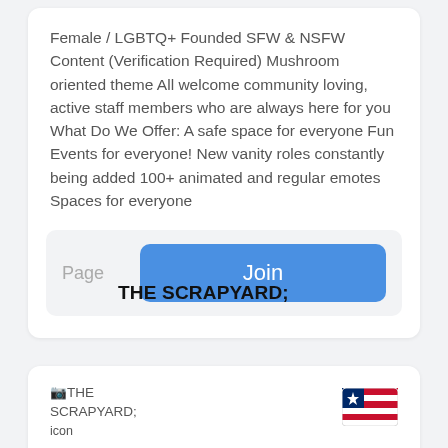Female / LGBTQ+ Founded SFW & NSFW Content (Verification Required) Mushroom oriented theme All welcome community loving, active staff members who are always here for you What Do We Offer: A safe space for everyone Fun Events for everyone! New vanity roles constantly being added 100+ animated and regular emotes Spaces for everyone
Page
Join
[Figure (screenshot): Broken image placeholder labeled 'THE SCRAPYARD; icon']
THE SCRAPYARD;
[Figure (illustration): Puerto Rico or Liberia-style flag emoji/icon]
icon
COMMUNITY
AMONG
OTHER
ART
FURRY
MUSIC
THE SCRAPYARD;